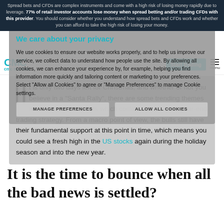Spread bets and CFDs are complex instruments and come with a high risk of losing money rapidly due to leverage. 77% of retail investor accounts lose money when spread betting and/or trading CFDs with this provider. You should consider whether you understand how spread bets and CFDs work and whether you can afford to take the high risk of losing your money.
We care about your privacy
We use cookies to ensure our website works properly, and to help us improve our service, we collect data to understand how people use the site. By allowing all cookies, we can enhance your experience by, for example, helping you find information more quickly and tailoring content or marketing to your preferences. Select "Allow all Cookies" to agree or "Manage Preferences" to manage Cookie settings.
I t is only two days left for Christmas, and whether or not you believe in a "Santa Rally", there are some trending themes in the financial markets which could help with your year-end trading strategy. From a macro point of view, the bulls still have their fundamental support at this point in time, which means you could see a fresh high in the US stocks again during the holiday season and into the new year.
It is the time to bounce when all the bad news is settled?